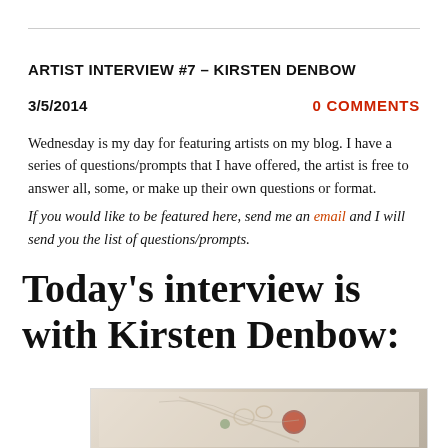ARTIST INTERVIEW #7 – KIRSTEN DENBOW
3/5/2014
0 COMMENTS
Wednesday is my day for featuring artists on my blog. I have a series of questions/prompts that I have offered, the artist is free to answer all, some, or make up their own questions or format. If you would like to be featured here, send me an email and I will send you the list of questions/prompts.
Today's interview is with Kirsten Denbow:
[Figure (photo): Partial view of jewelry/art piece by Kirsten Denbow, showing metallic rings and a red gemstone on a light background]